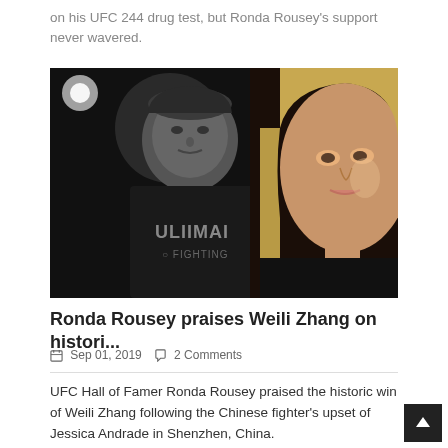on his UFC 244 drug test, but Ronda Rousey's support never wavered.
[Figure (photo): Composite photo showing Weili Zhang in black and white wearing a UFC fighting shirt on the left, and Ronda Rousey in color on the right]
Ronda Rousey praises Weili Zhang on histori...
Sep 01, 2019  2 Comments
UFC Hall of Famer Ronda Rousey praised the historic win of Weili Zhang following the Chinese fighter's upset of Jessica Andrade in Shenzhen, China.